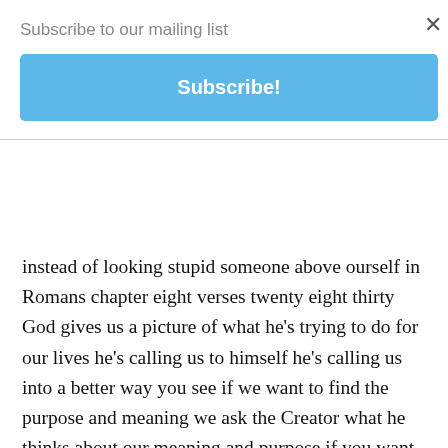Subscribe to our mailing list
Subscribe!
instead of looking stupid someone above ourself in Romans chapter eight verses twenty eight thirty God gives us a picture of what he's trying to do for our lives he's calling us to himself he's calling us into a better way you see if we want to find the purpose and meaning we ask the Creator what he thinks about our meaning and purpose if you want to find an invention and you see somebody you see that invents uses what do you do that for what set for how do you use that you go to the inventor to ask how they did it and why they build it and what it's used for. I went online and looked up john wall to misname just to see if there's anything out there that that was had his name attached to it and you and I talked about this we you were an